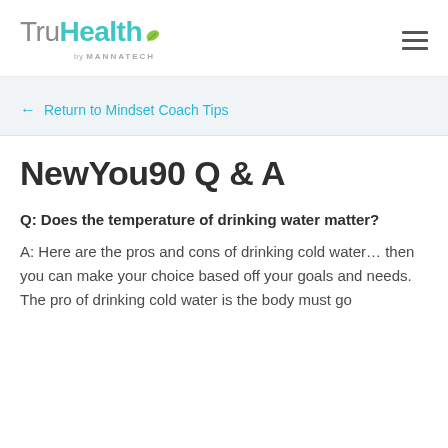TruHealth by MANNATECH
← Return to Mindset Coach Tips
NewYou90 Q & A
Q: Does the temperature of drinking water matter?
A: Here are the pros and cons of drinking cold water... then you can make your choice based off your goals and needs. The pro of drinking cold water is the body must go